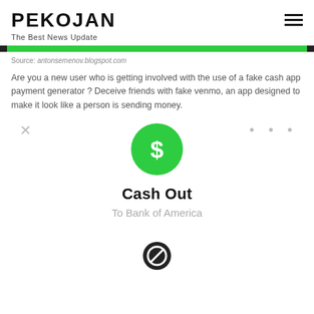PEKOJAN
The Best News Update
[Figure (other): Green horizontal bar separator with dark borders on left and right]
Source: antonsemenov.blogspot.com
Are you a new user who is getting involved with the use of a fake cash app payment generator ? Deceive friends with fake venmo, an app designed to make it look like a person is sending money.
[Figure (screenshot): Cash App mockup UI showing a green dollar sign circle, Cash Out label, To Bank of America subtitle, with X and three-dots menu icons, and a blocked/error icon at bottom]